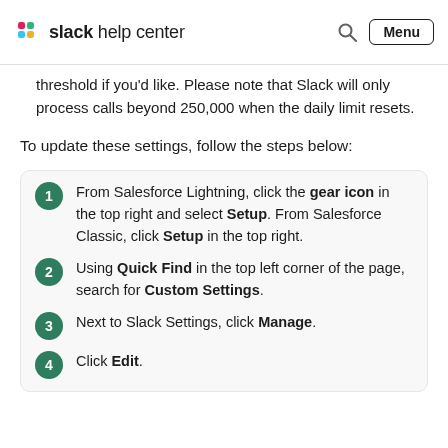slack help center
threshold if you'd like. Please note that Slack will only process calls beyond 250,000 when the daily limit resets.
To update these settings, follow the steps below:
From Salesforce Lightning, click the gear icon in the top right and select Setup. From Salesforce Classic, click Setup in the top right.
Using Quick Find in the top left corner of the page, search for Custom Settings.
Next to Slack Settings, click Manage.
Click Edit.